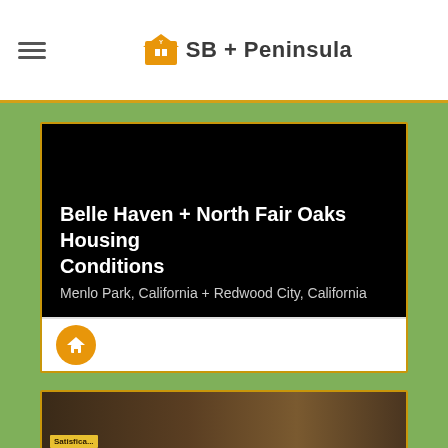SB + Peninsula
[Figure (screenshot): Black video thumbnail with title overlay: Belle Haven + North Fair Oaks Housing Conditions, Menlo Park, California + Redwood City, California]
Belle Haven + North Fair Oaks Housing Conditions
Menlo Park, California + Redwood City, California
[Figure (photo): Partial photo showing people at an event with a yellow sign partially visible reading something ending in '-ola']